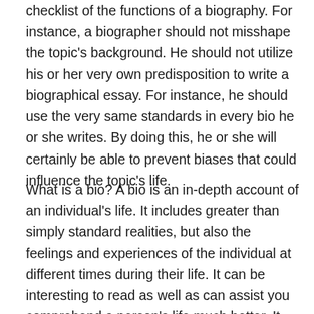checklist of the functions of a biography. For instance, a biographer should not misshape the topic's background. He should not utilize his or her very own predisposition to write a biographical essay. For instance, he should use the very same standards in every bio he or she writes. By doing this, he or she will certainly be able to prevent biases that could influence the topic's life.
What is a bio? A bio is an in-depth account of an individual's life. It includes greater than simply standard realities, but also the feelings and experiences of the individual at different times during their life. It can be interesting to read as well as can assist you comprehend a person's life much better. It can also help you identify what to study or discuss next. Below are some ideas on how to create a